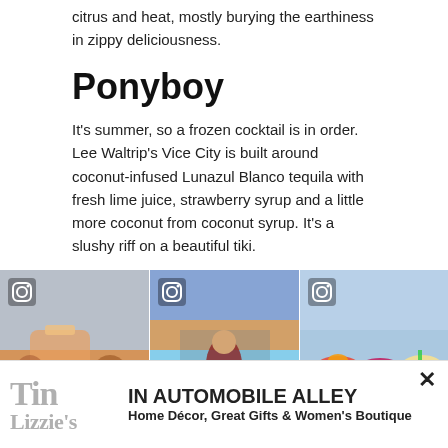citrus and heat, mostly burying the earthiness in zippy deliciousness.
Ponyboy
It's summer, so a frozen cocktail is in order. Lee Waltrip's Vice City is built around coconut-infused Lunazul Blanco tequila with fresh lime juice, strawberry syrup and a little more coconut from coconut syrup. It's a slushy riff on a beautiful tiki.
[Figure (photo): Three Instagram photos: left shows a large frozen cocktail in a crowded indoor venue; center shows a woman on a rooftop at sunset with food and drinks; right shows three colorful cocktails (red, pink, yellow) on a bar.]
[Figure (logo): Tin Lizzie's advertisement banner: logo on left with 'Tin Lizzie's' in grey serif text, text reads 'IN AUTOMOBILE ALLEY - Home Décor, Great Gifts & Women's Boutique']